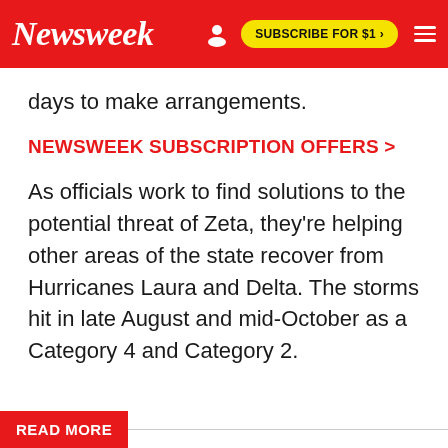Newsweek
days to make arrangements.
NEWSWEEK SUBSCRIPTION OFFERS >
As officials work to find solutions to the potential threat of Zeta, they're helping other areas of the state recover from Hurricanes Laura and Delta. The storms hit in late August and mid-October as a Category 4 and Category 2.
READ MORE